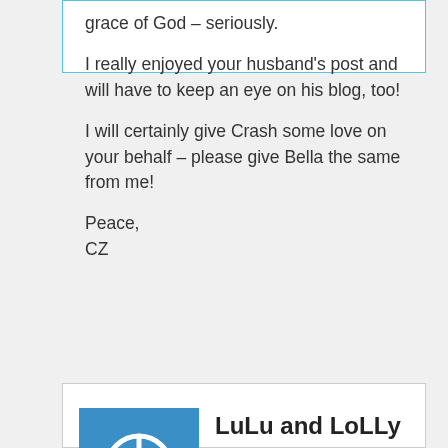grace of God – seriously.

I really enjoyed your husband's post and will have to keep an eye on his blog, too!

I will certainly give Crash some love on your behalf – please give Bella the same from me!

Peace,
CZ
[Figure (logo): Blue square avatar with white power/circle icon]
LuLu and LoLLy
12.17.2008 AT 10:56 PM